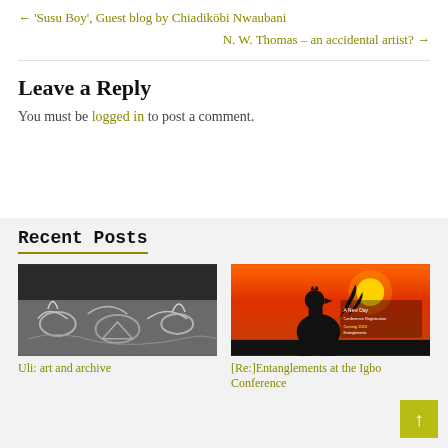← 'Susu Boy', Guest blog by Chiadikōbi Nwaubani
N. W. Thomas – an accidental artist? →
Leave a Reply
You must be logged in to post a comment.
Recent Posts
[Figure (photo): Black and white photograph of Uli art pattern on a surface]
Uli: art and archive
[Figure (photo): Photo of a rooster silhouette against a bright orange/red sunset sky with text overlay about a conference]
[Re:]Entanglements at the Igbo Conference